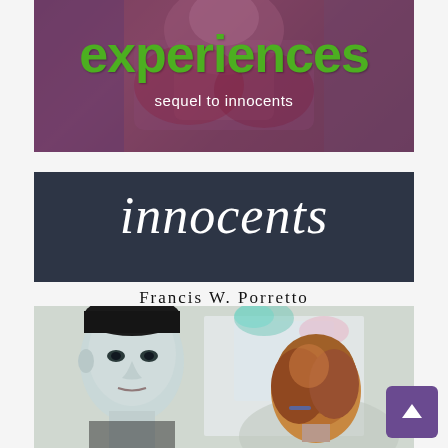[Figure (illustration): Book cover for 'experiences: sequel to innocents' — large green bold title text over a dark purple/maroon painted background with a figure]
[Figure (illustration): Book cover for 'innocents' by Francis W. Porretto — italic serif white title on dark navy band, author name below]
[Figure (illustration): Book cover painting showing two figures: a pale male face (left) and a red-haired figure from behind (right) on a light background]